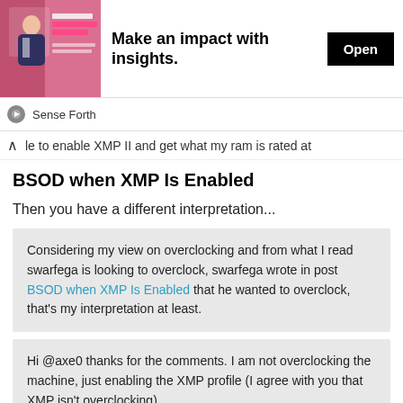[Figure (screenshot): Ad banner with photo of person in suit, text 'Make an impact with insights.' and Open button]
Sense Forth
…le to enable XMP II and get what my ram is rated at
BSOD when XMP Is Enabled
Then you have a different interpretation...
Considering my view on overclocking and from what I read swarfega is looking to overclock, swarfega wrote in post BSOD when XMP Is Enabled that he wanted to overclock, that's my interpretation at least.
Hi @axe0 thanks for the comments. I am not overclocking the machine, just enabling the XMP profile (I agree with you that XMP isn't overclocking).